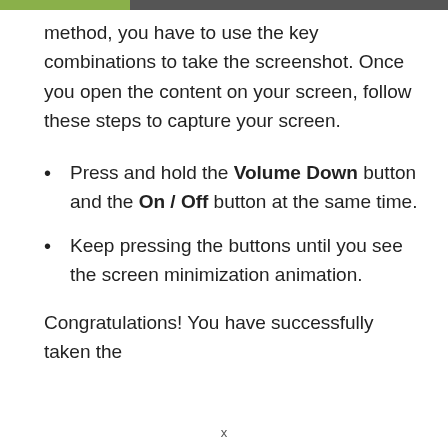method, you have to use the key combinations to take the screenshot. Once you open the content on your screen, follow these steps to capture your screen.
Press and hold the Volume Down button and the On / Off button at the same time.
Keep pressing the buttons until you see the screen minimization animation.
Congratulations! You have successfully taken the